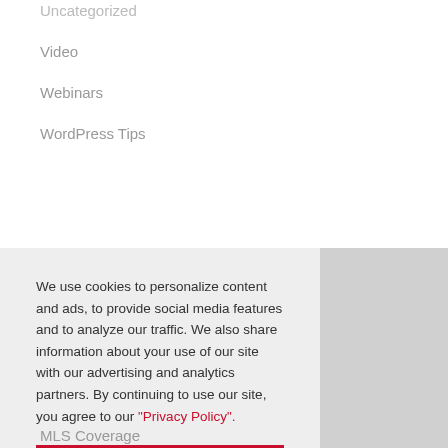Uncategorized
Video
Webinars
WordPress Tips
We use cookies to personalize content and ads, to provide social media features and to analyze our traffic. We also share information about your use of our site with our advertising and analytics partners. By continuing to use our site, you agree to our "Privacy Policy".
Allow cookies
Dismiss
Cookie Preferences
MLS Coverage